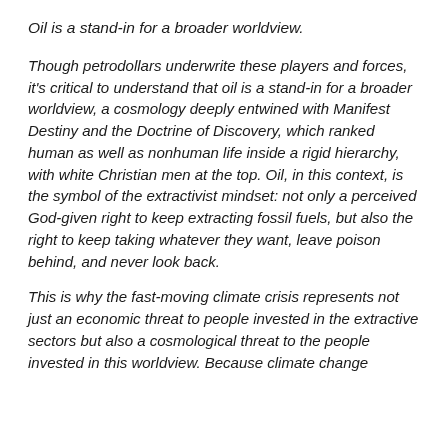Oil is a stand-in for a broader worldview.
Though petrodollars underwrite these players and forces, it's critical to understand that oil is a stand-in for a broader worldview, a cosmology deeply entwined with Manifest Destiny and the Doctrine of Discovery, which ranked human as well as nonhuman life inside a rigid hierarchy, with white Christian men at the top. Oil, in this context, is the symbol of the extractivist mindset: not only a perceived God-given right to keep extracting fossil fuels, but also the right to keep taking whatever they want, leave poison behind, and never look back.
This is why the fast-moving climate crisis represents not just an economic threat to people invested in the extractive sectors but also a cosmological threat to the people invested in this worldview. Because climate change